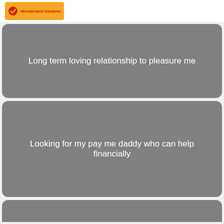[Figure (logo): Wonderland Gardens logo - orange/yellow background with red checkmark icon and red text]
Long term loving relationship to pleasure me
Looking for my pay me daddy who can help financially